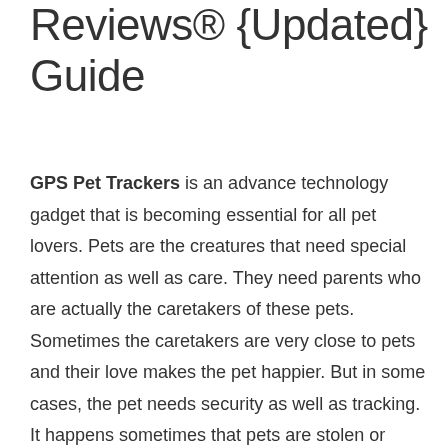Reviews® {Updated} Guide
GPS Pet Trackers is an advance technology gadget that is becoming essential for all pet lovers. Pets are the creatures that need special attention as well as care. They need parents who are actually the caretakers of these pets. Sometimes the caretakers are very close to pets and their love makes the pet happier. But in some cases, the pet needs security as well as tracking. It happens sometimes that pets are stolen or taken to some unknown place while they may become the victim of some harm peoples. For this, there is a GPS Pet Tracker which helps you to